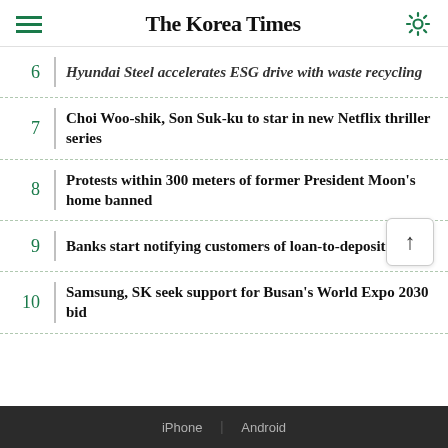The Korea Times
6 | Hyundai Steel accelerates ESG drive with waste recycling
7 | Choi Woo-shik, Son Suk-ku to star in new Netflix thriller series
8 | Protests within 300 meters of former President Moon's home banned
9 | Banks start notifying customers of loan-to-deposit ratios
10 | Samsung, SK seek support for Busan's World Expo 2030 bid
iPhone | Android